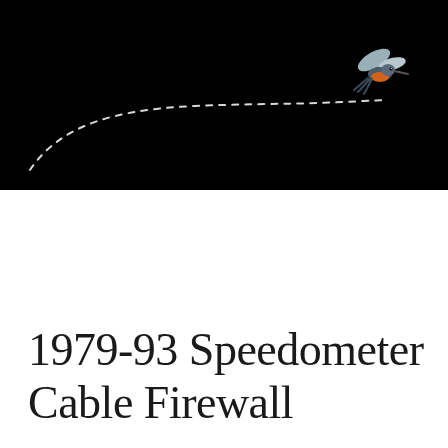[Figure (illustration): A hummingbird in flight against a solid black background, with a curved dashed white line trailing behind it, arcing from the lower left up to the bird positioned in the upper right area.]
1979-93 Speedometer Cable Firewall